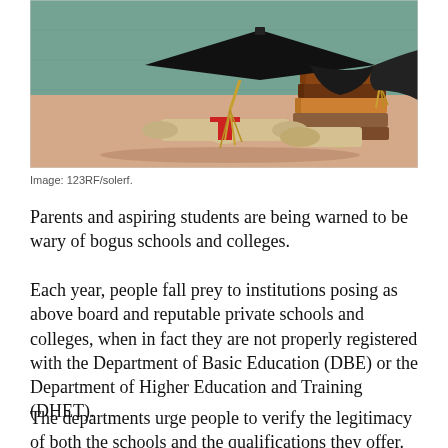[Figure (photo): A graduation mortarboard cap resting on a stack of books next to a rolled diploma with a red ribbon, on a wooden surface with a green chalkboard background.]
Image: 123RF/solerf.
Parents and aspiring students are being warned to be wary of bogus schools and colleges.
Each year, people fall prey to institutions posing as above board and reputable private schools and colleges, when in fact they are not properly registered with the Department of Basic Education (DBE) or the Department of Higher Education and Training (DHET).
The departments urge people to verify the legitimacy of both the schools and the qualifications they offer. Qualifications can be verified by the South African...